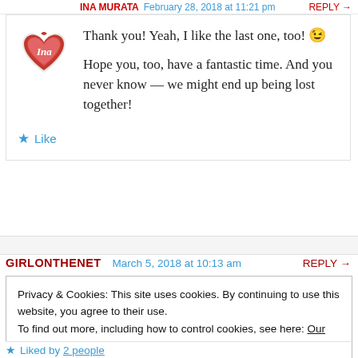INA MURATA · February 28, 2018 at 11:21 pm · REPLY →
[Figure (logo): Circular heart-shaped logo with 'Ina' script text in red and white]
Thank you! Yeah, I like the last one, too! 😉
Hope you, too, have a fantastic time. And you never know — we might end up being lost together!
★ Like
GIRLONTHENET   March 5, 2018 at 10:13 am   REPLY →
Privacy & Cookies: This site uses cookies. By continuing to use this website, you agree to their use.
To find out more, including how to control cookies, see here: Our Cookie Policy
Close and accept
★ Liked by 2 people